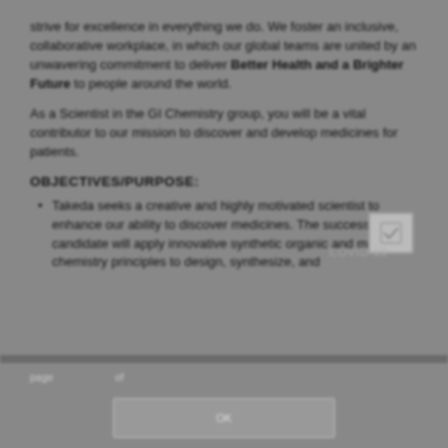strive for excellence in everything we do. We foster an inclusive, collaborative workplace, in which our global teams are united by an unwavering commitment to deliver Better Health and a Brighter Future to people around the world.
As a Scientist in the GI Chemistry group, you will be a vital contributor to our mission to discover and develop medicines for patients.
OBJECTIVES/PURPOSE:
Takeda seeks a creative and highly motivated scientist to enhance our ability to discover medicines. The successful candidate will apply innovative synthetic organic and medicinal chemistry principles to design, synthesize, and
page of